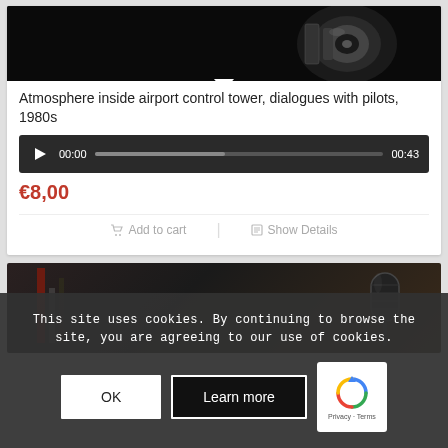[Figure (photo): Dark background photo of metallic audio/mechanical equipment]
Atmosphere inside airport control tower, dialogues with pilots, 1980s
[Figure (other): Audio player bar showing 00:00 / 00:43 with progress bar]
€8,00
Add to cart   |   Show Details
[Figure (photo): Dark background photo with vintage microphone]
This site uses cookies. By continuing to browse the site, you are agreeing to our use of cookies.
OK   Learn more